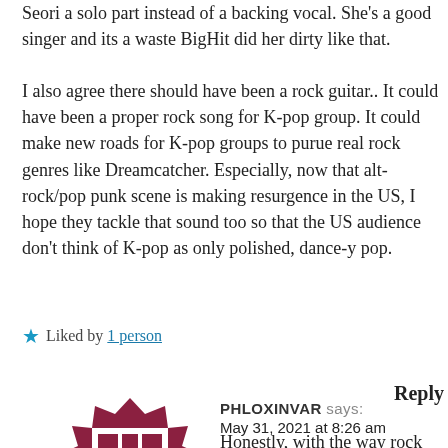Seori a solo part instead of a backing vocal. She's a good singer and its a waste BigHit did her dirty like that.

I also agree there should have been a rock guitar.. It could have been a proper rock song for K-pop group. It could make new roads for K-pop groups to purue real rock genres like Dreamcatcher. Especially, now that alt-rock/pop punk scene is making resurgence in the US, I hope they tackle that sound too so that the US audience don't think of K-pop as only polished, dance-y pop.
★ Liked by 1 person
Reply
[Figure (illustration): User avatar for PHLOXINVAR — dark red/maroon decorative square icon with geometric pattern]
PHLOXINVAR says:
May 31, 2021 at 8:26 am
Honestly, with the way rock